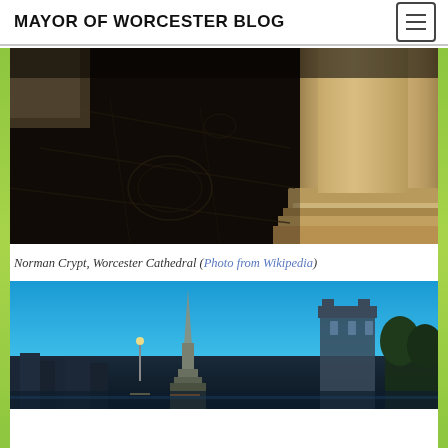MAYOR OF WORCESTER BLOG
[Figure (photo): Norman Crypt interior of Worcester Cathedral, dark stone floor with carved relief slabs and stone column bases, sepia/dark toned photograph]
Norman Crypt, Worcester Cathedral (Photo from Wikipedia)
[Figure (photo): Worcester city skyline at dusk/twilight showing church spire and Worcester Cathedral tower, city buildings reflected in the River Severn, blue sky]